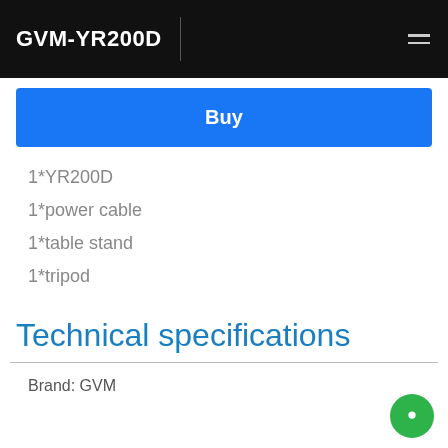GVM-YR200D
Buy
1*YR200D
1*power cable
1*table stand
1*tripod
Technical specifications
Brand: GVM